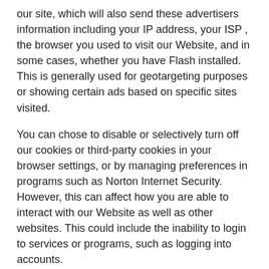our site, which will also send these advertisers information including your IP address, your ISP , the browser you used to visit our Website, and in some cases, whether you have Flash installed. This is generally used for geotargeting purposes or showing certain ads based on specific sites visited.
You can chose to disable or selectively turn off our cookies or third-party cookies in your browser settings, or by managing preferences in programs such as Norton Internet Security. However, this can affect how you are able to interact with our Website as well as other websites. This could include the inability to login to services or programs, such as logging into accounts.
Deleting cookies does not mean you are permanently opted out of any advertising program. Unless you have settings that disallow cookies, the next time you visit a website running the advertisements, a new cookie will be added.